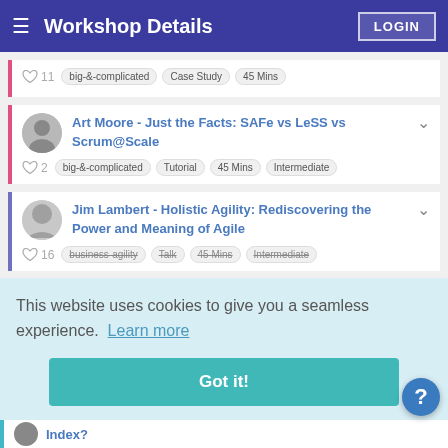Workshop Details  LOGIN
♡ 11  big-&-complicated  Case Study  45 Mins
Art Moore - Just the Facts: SAFe vs LeSS vs Scrum@Scale
♡ 2  big-&-complicated  Tutorial  45 Mins  Intermediate
Jim Lambert - Holistic Agility: Rediscovering the Power and Meaning of Agile
♡ 16  business-agility  Talk  45 Mins  Intermediate
This website uses cookies to give you a seamless experience.  Learn more
Got it!
Index?